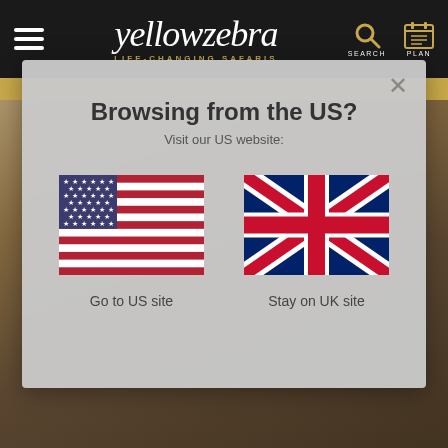yellowzebra LIFE-CHANGING SAFARIS SEARCH PLAN
Browsing from the US?
Visit our US website:
[Figure (illustration): US flag]
Go to US site
[Figure (illustration): UK Union Jack flag]
Stay on UK site